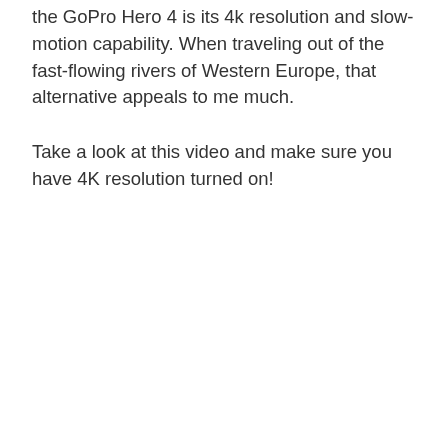the GoPro Hero 4 is its 4k resolution and slow-motion capability. When traveling out of the fast-flowing rivers of Western Europe, that alternative appeals to me much.
Take a look at this video and make sure you have 4K resolution turned on!